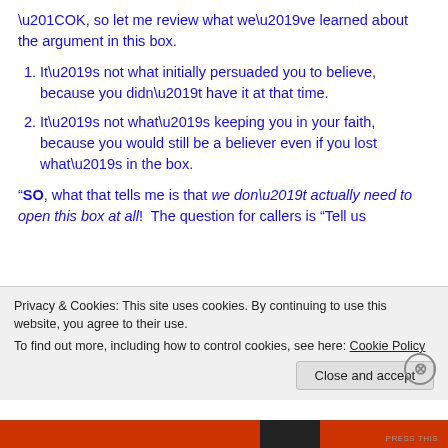“OK, so let me review what we’ve learned about the argument in this box.
It’s not what initially persuaded you to believe, because you didn’t have it at that time.
It’s not what’s keeping you in your faith, because you would still be a believer even if you lost what’s in the box.
“SO, what that tells me is that we don’t actually need to open this box at all! The question for callers is “Tell us
Privacy & Cookies: This site uses cookies. By continuing to use this website, you agree to their use.
To find out more, including how to control cookies, see here: Cookie Policy
Close and accept